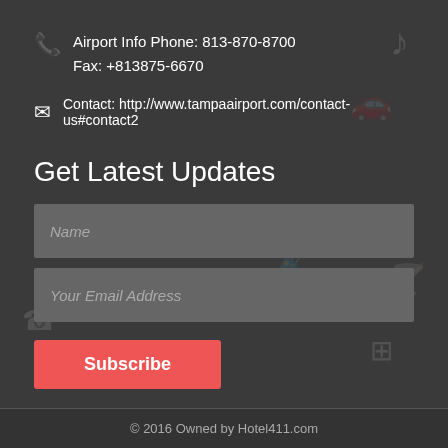Airport Info Phone: 813-870-8700
Fax: +813875-6670
Contact: http://www.tampaairport.com/contact-us#contact2
Get Latest Updates
Name
Your Email Address
Subscribe
© 2016 Owned by Hotel411.com